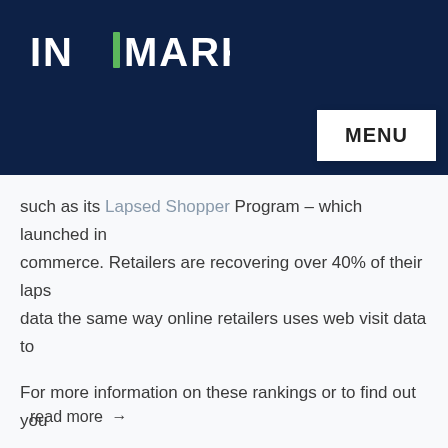[Figure (logo): InMarket logo — white text 'IN MARKET' with a green vertical bar between IN and MARKET, on dark navy background]
MENU
such as its Lapsed Shopper Program – which launched in commerce. Retailers are recovering over 40% of their laps data the same way online retailers uses web visit data to
For more information on these rankings or to find out you
read more →